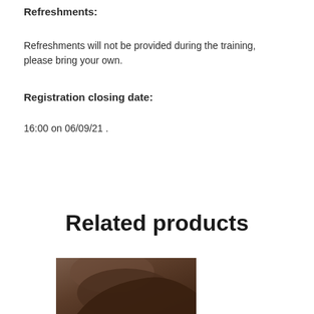Refreshments:
Refreshments will not be provided during the training, please bring your own.
Registration closing date:
16:00 on 06/09/21 .
Related products
[Figure (photo): A person's hand or arm, partially visible at the bottom of the page, appearing as a cropped image.]